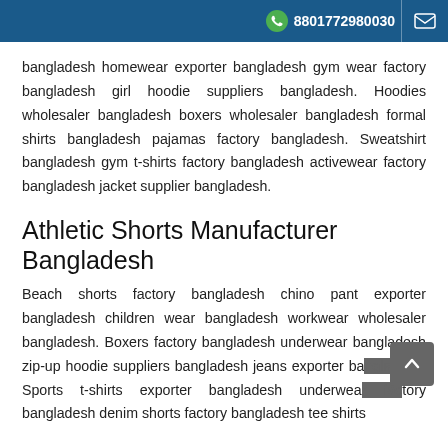8801772980030
bangladesh homewear exporter bangladesh gym wear factory bangladesh girl hoodie suppliers bangladesh. Hoodies wholesaler bangladesh boxers wholesaler bangladesh formal shirts bangladesh pajamas factory bangladesh. Sweatshirt bangladesh gym t-shirts factory bangladesh activewear factory bangladesh jacket supplier bangladesh.
Athletic Shorts Manufacturer Bangladesh
Beach shorts factory bangladesh chino pant exporter bangladesh children wear bangladesh workwear wholesaler bangladesh. Boxers factory bangladesh underwear bangladesh zip-up hoodie suppliers bangladesh jeans exporter bangladesh. Sports t-shirts exporter bangladesh underwear factory bangladesh denim shorts factory bangladesh tee shirts